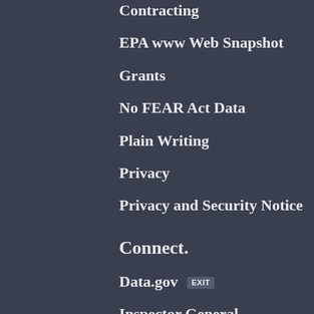Contracting
EPA www Web Snapshot
Grants
No FEAR Act Data
Plain Writing
Privacy
Privacy and Security Notice
Connect.
Data.gov EXIT
Inspector General
Jobs
Newsroom